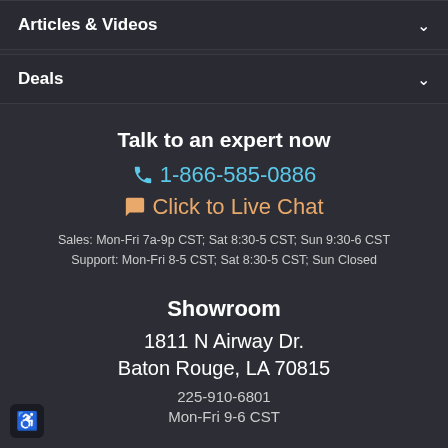Articles & Videos
Deals
Talk to an expert now
1-866-585-0886
Click to Live Chat
Sales: Mon-Fri 7a-9p CST; Sat 8:30-5 CST; Sun 9:30-6 CST
Support: Mon-Fri 8-5 CST; Sat 8:30-5 CST; Sun Closed
Showroom
1811 N Airway Dr.
Baton Rouge, LA 70815
225-910-6801
Mon-Fri 9-6 CST